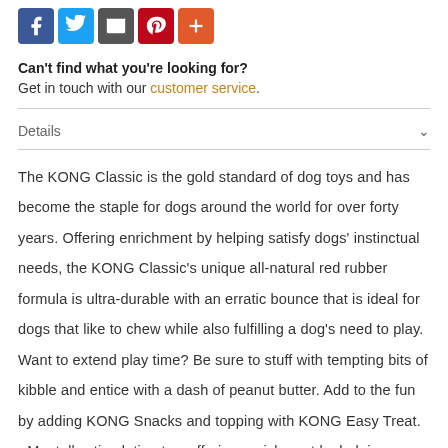[Figure (infographic): Social sharing icons row: Facebook (blue), Twitter (light blue), Email/share (grey), Pinterest (red), More/plus (orange-red)]
Can't find what you're looking for?
Get in touch with our customer service.
Details
The KONG Classic is the gold standard of dog toys and has become the staple for dogs around the world for over forty years. Offering enrichment by helping satisfy dogs' instinctual needs, the KONG Classic's unique all-natural red rubber formula is ultra-durable with an erratic bounce that is ideal for dogs that like to chew while also fulfilling a dog's need to play. Want to extend play time? Be sure to stuff with tempting bits of kibble and entice with a dash of peanut butter. Add to the fun by adding KONG Snacks and topping with KONG Easy Treat. - Mentally stimulating toy, offering enrichment by helping satisfy dogs' instinctual needs - KONG classic red rubber formula is non-toxic and all-natural